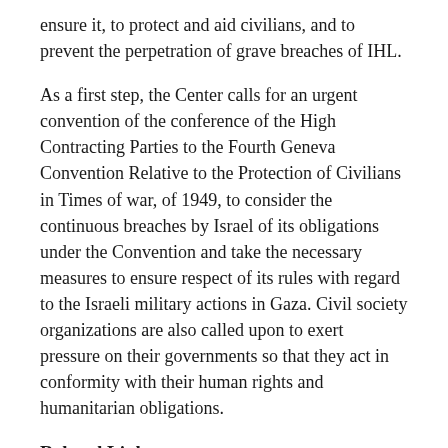ensure it, to protect and aid civilians, and to prevent the perpetration of grave breaches of IHL.
As a first step, the Center calls for an urgent convention of the conference of the High Contracting Parties to the Fourth Geneva Convention Relative to the Protection of Civilians in Times of war, of 1949, to consider the continuous breaches by Israel of its obligations under the Convention and take the necessary measures to ensure respect of its rules with regard to the Israeli military actions in Gaza. Civil society organizations are also called upon to exert pressure on their governments so that they act in conformity with their human rights and humanitarian obligations.
Related Links
Al Mezan Center for Human Rights
BY TOPIC: Gaza massacres